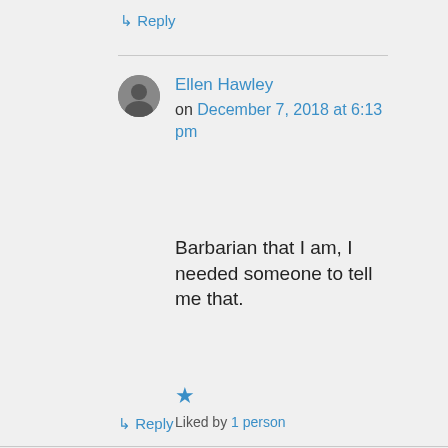↳ Reply
Ellen Hawley on December 7, 2018 at 6:13 pm
Barbarian that I am, I needed someone to tell me that.
★ Liked by 1 person
↳ Reply